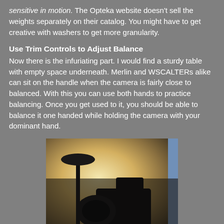sensitive in motion. The Opteka website doesn't sell the weights separately on their catalog. You might have to get creative with washers to get more granularity.
Use Trim Controls to Adjust Balance
Now there is the infuriating part. I would find a sturdy table with empty space underneath. Merlin and WSCALTERs alike can sit on the handle when the camera is fairly close to balanced. With this you can use both hands to practice balancing. Once you get used to it, you should be able to balance it one handed while holding the camera with your dominant hand.
[Figure (photo): A camera silhouette mounted on a steadicam/stabilizer handle, photographed from below against a bright warm backlight. A disc-shaped weight is visible at the top of a vertical pole. A blue strip (possibly a window or wall) is visible on the right edge.]